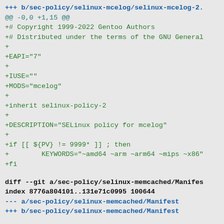+++ b/sec-policy/selinux-mcelog/selinux-mcelog-2.
@@ -0,0 +1,15 @@
+# Copyright 1999-2022 Gentoo Authors
+# Distributed under the terms of the GNU General
+
+EAPI="7"
+
+IUSE=""
+MODS="mcelog"
+
+inherit selinux-policy-2
+
+DESCRIPTION="SELinux policy for mcelog"
+
+if [[ ${PV} != 9999* ]] ; then
+        KEYWORDS="~amd64 ~arm ~arm64 ~mips ~x86"
+fi
diff --git a/sec-policy/selinux-memcached/Manifes
index 8776a804101..131e71c0995 100644
--- a/sec-policy/selinux-memcached/Manifest
+++ b/sec-policy/selinux-memcached/Manifest